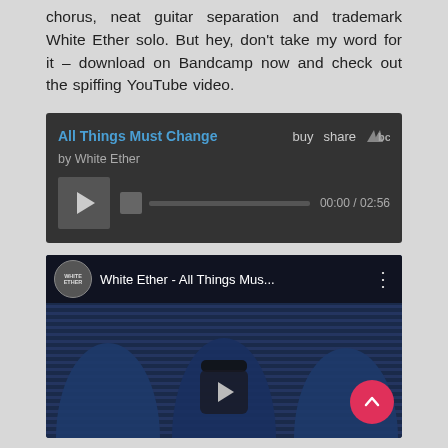chorus, neat guitar separation and trademark White Ether solo. But hey, don't take my word for it – download on Bandcamp now and check out the spiffing YouTube video.
[Figure (screenshot): Bandcamp embedded music player showing 'All Things Must Change' by White Ether with buy/share options and a playback progress bar showing 00:00 / 02:56]
[Figure (screenshot): YouTube embedded video player showing 'White Ether - All Things Mus...' with a thumbnail of three people in blue tones standing in front of a metal shutter. A play button is visible at the bottom center.]